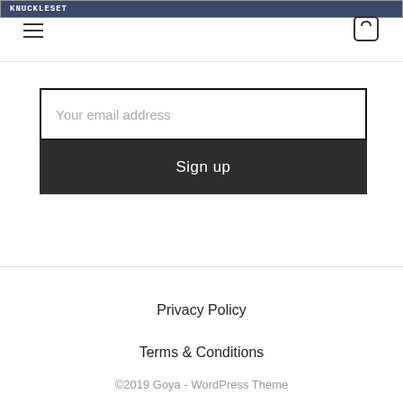KNUCKLESET (logo) | hamburger menu | cart icon
Your email address
Sign up
Privacy Policy
Terms & Conditions
©2019 Goya - WordPress Theme